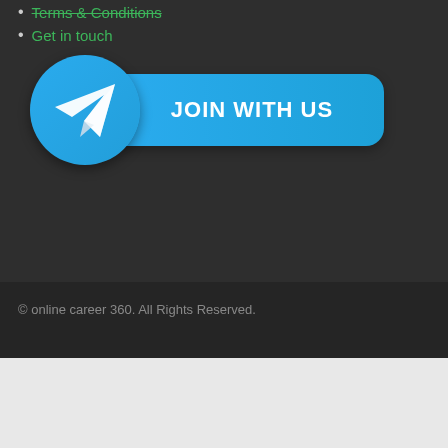Terms & Conditions
Get in touch
[Figure (illustration): Telegram 'JOIN WITH US' button with Telegram logo circle on the left and a blue rounded rectangle with bold white text 'JOIN WITH US' on the right]
© online career 360. All Rights Reserved.